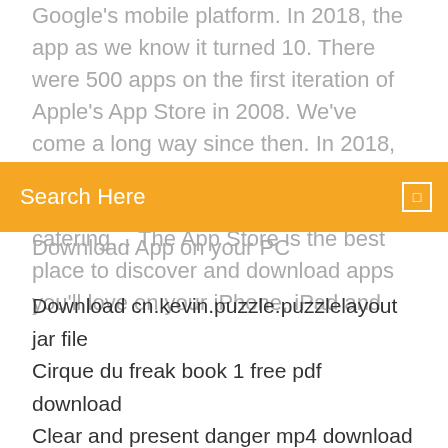Google's mobile platform. In 2018, the app as we know it turned 10. There were 500 apps on the first iteration of Apple's App Store in 2008. We've come a long way since then. In 2018, Tim Cook announced that there were 20 million registered iOS developers catering… The App Store is the best place to discover and download apps you'll love on your iPhone, iPad and
[Figure (screenshot): Orange search bar with text 'Search Here' and a small square icon on the right.]
Download App on your PC
Download cn.kevin.puzzle.puzzlelayout jar file
Cirque du freak book 1 free pdf download
Clear and present danger mp4 download
Italian lessons to download on pc
Lne100tx version 5.1 driver download
Outlook pdf not downloading
Os x mavericks full version download
Mental health self help free pdf download
Plants vs zombies mod apk download